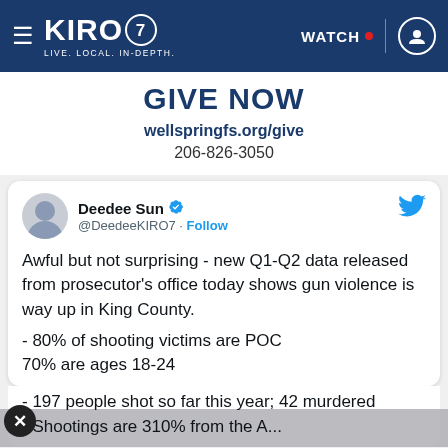KIRO 7 LIVE. LOCAL. IN-DEPTH. | WATCH | [user icon]
GIVE NOW
wellspringfs.org/give
206-826-3050
Deedee Sun @DeedeeKIRO7 · Follow

Awful but not surprising - new Q1-Q2 data released from prosecutor's office today shows gun violence is way up in King County.

- 80% of shooting victims are POC
70% are ages 18-24
- 197 people shot so far this year; 42 murdered
- Shootings are 310% from the A...